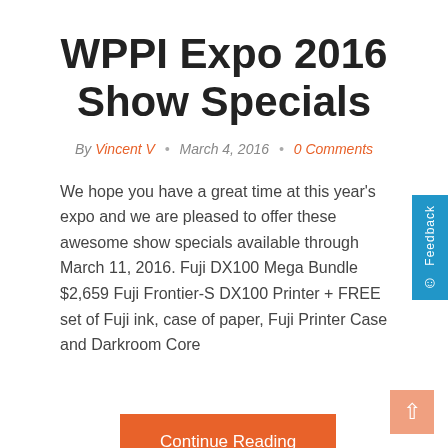WPPI Expo 2016 Show Specials
By Vincent V • March 4, 2016 • 0 Comments
We hope you have a great time at this year's expo and we are pleased to offer these awesome show specials available through March 11, 2016. Fuji DX100 Mega Bundle $2,659 Fuji Frontier-S DX100 Printer + FREE set of Fuji ink, case of paper, Fuji Printer Case and Darkroom Core
Continue Reading